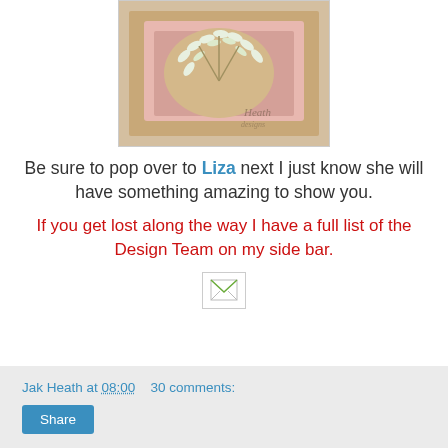[Figure (photo): A craft/scrapbooking image showing decorative leaves and floral elements on a pinkish background with a watermark reading 'Heath designs']
Be sure to pop over to Liza next I just know she will have something amazing to show you.
If you get lost along the way I have a full list of the Design Team on my side bar.
[Figure (other): Small email/share icon image]
Jak Heath at 08:00   30 comments:
Share